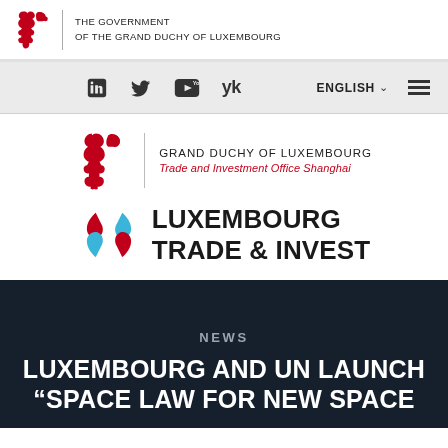THE GOVERNMENT OF THE GRAND DUCHY OF LUXEMBOURG
[Figure (logo): Luxembourg Government lion crest logo (red) with text: THE GOVERNMENT OF THE GRAND DUCHY OF LUXEMBOURG]
[Figure (screenshot): Navigation bar with social media icons (LinkedIn, Twitter, YouTube, YK), ENGLISH language selector, and hamburger menu]
[Figure (logo): Grand Duchy of Luxembourg Trade and Investment Office Shanghai logo with red lion and text]
[Figure (logo): Luxembourg Trade & Invest logo with red and blue pinwheel graphic and bold uppercase text]
NEWS
LUXEMBOURG AND UN LAUNCH "SPACE LAW FOR NEW SPACE